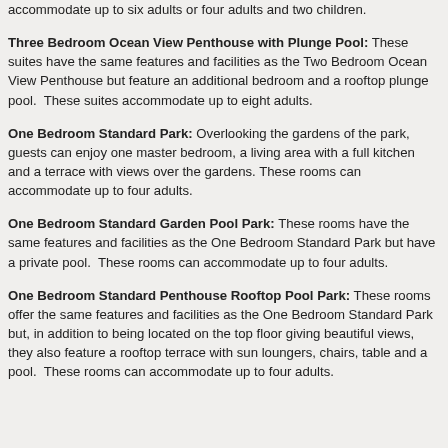accommodate up to six adults or four adults and two children.
Three Bedroom Ocean View Penthouse with Plunge Pool: These suites have the same features and facilities as the Two Bedroom Ocean View Penthouse but feature an additional bedroom and a rooftop plunge pool.  These suites accommodate up to eight adults.
One Bedroom Standard Park: Overlooking the gardens of the park, guests can enjoy one master bedroom, a living area with a full kitchen and a terrace with views over the gardens. These rooms can accommodate up to four adults.
One Bedroom Standard Garden Pool Park: These rooms have the same features and facilities as the One Bedroom Standard Park but have a private pool.  These rooms can accommodate up to four adults.
One Bedroom Standard Penthouse Rooftop Pool Park: These rooms offer the same features and facilities as the One Bedroom Standard Park but, in addition to being located on the top floor giving beautiful views, they also feature a rooftop terrace with sun loungers, chairs, table and a pool.  These rooms can accommodate up to four adults.